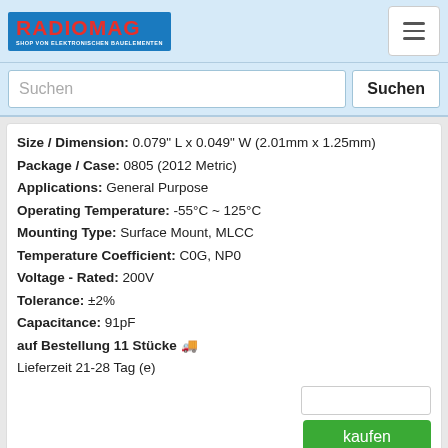[Figure (logo): RADIOMAG logo - shop for electronic components]
Suchen
Size / Dimension: 0.079" L x 0.049" W (2.01mm x 1.25mm)
Package / Case: 0805 (2012 Metric)
Applications: General Purpose
Operating Temperature: -55°C ~ 125°C
Mounting Type: Surface Mount, MLCC
Temperature Coefficient: C0G, NP0
Voltage - Rated: 200V
Tolerance: ±2%
Capacitance: 91pF
auf Bestellung 11 Stücke 🚚
Lieferzeit 21-28 Tag (e)
kaufen
0805YC334J4T2A
Hersteller: AVX Corporation
Description: CAP CER 0.33UF 16V X7R 0805
Thickness (Max): 0.055" (1.40mm)
Size / Dimension: 0.079" L x 0.049" W (2.01mm x